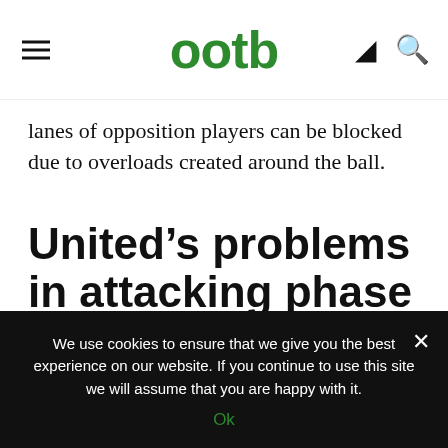ootb
lanes of opposition players can be blocked due to overloads created around the ball.
United’s problems in attacking phase
Unlike the United that we had seen leading up to this game, there was a clear inability to successfully construct an attack and keep the ball for a prolonged period of time. Mourinho’s side were
We use cookies to ensure that we give you the best experience on our website. If you continue to use this site we will assume that you are happy with it.
Ok